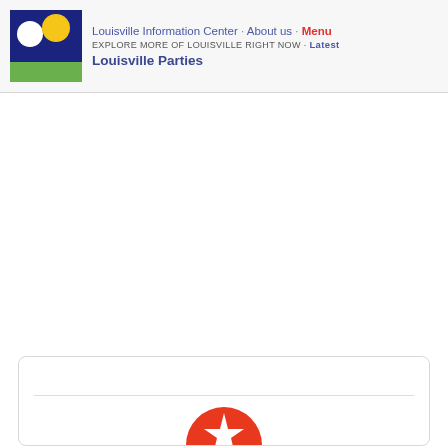Louisville Information Center · About us · Menu
EXPLORE MORE OF LOUISVILLE RIGHT NOW · Latest
Louisville Parties
[Figure (logo): Louisville Information Center logo: dark blue square background with white circle (moon) and yellow/gold circle (sun), green rectangle at bottom]
[Figure (logo): Partial red circular icon with white star, visible at bottom of card box at bottom of page]